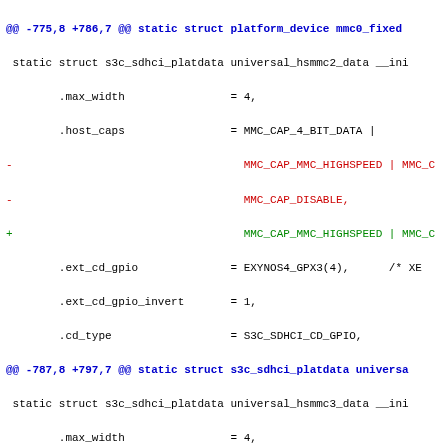@@ -775,8 +786,7 @@ static struct platform_device mmc0_fixed...
Code diff showing changes to s3c_sdhci_platdata universal_hsmmc2_data and universal_hsmmc3_data structures, and s3c_fb_pd_win universal_fb_ structure